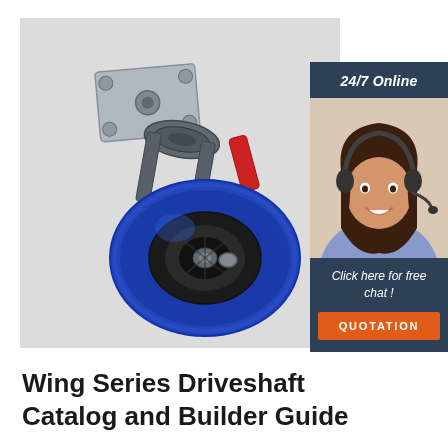[Figure (photo): Blue rubber caster wheel with metal swivel plate mounting bracket and red brake lever, shown on light grey background]
[Figure (photo): Customer service agent woman smiling, wearing headset, with '24/7 Online' header and 'Click here for free chat!' text and 'QUOTATION' orange button on dark navy sidebar]
Wing Series Driveshaft Catalog and Builder Guide